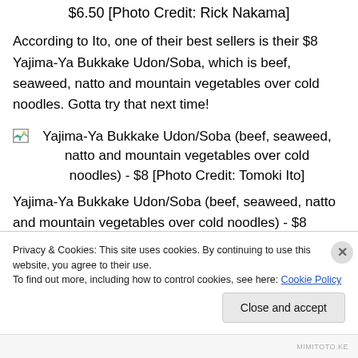$6.50 [Photo Credit: Rick Nakama]
According to Ito, one of their best sellers is their $8 Yajima-Ya Bukkake Udon/Soba, which is beef, seaweed, natto and mountain vegetables over cold noodles. Gotta try that next time!
[Figure (photo): Image placeholder for Yajima-Ya Bukkake Udon/Soba dish]
Yajima-Ya Bukkake Udon/Soba (beef, seaweed, natto and mountain vegetables over cold noodles) - $8 [Photo Credit: Tomoki Ito]
Yajima-Ya Bukkake Udon/Soba (beef, seaweed, natto and mountain vegetables over cold noodles) - $8 [Photo
Privacy & Cookies: This site uses cookies. By continuing to use this website, you agree to their use.
To find out more, including how to control cookies, see here: Cookie Policy